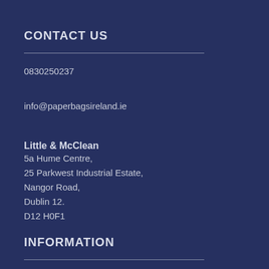CONTACT US
0830250237
info@paperbagsireland.ie
Little & McClean
5a Hume Centre,
25 Parkwest Industrial Estate,
Nangor Road,
Dublin 12.
D12 H0F1
INFORMATION